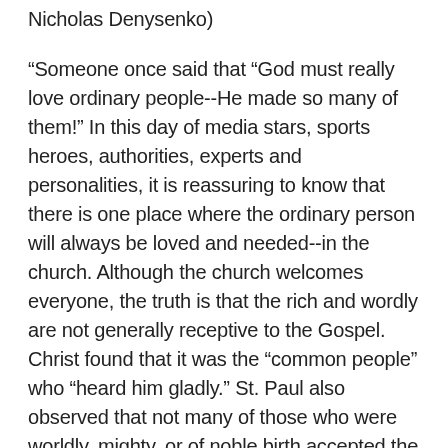Nicholas Denysenko)
“Someone once said that "God must really love ordinary people--He made so many of them!" In this day of media stars, sports heroes, authorities, experts and personalities, it is reassuring to know that there is one place where the ordinary person will always be loved and needed--in the church. Although the church welcomes everyone, the truth is that the rich and wordly are not generally receptive to the Gospel. Christ found that it was the "common people" who "heard him gladly." St. Paul also observed that not many of those who were worldly, mighty, or of noble birth accepted the Christian calling. (I Cor. 1:26)." (Rev. Andrew Brunette)